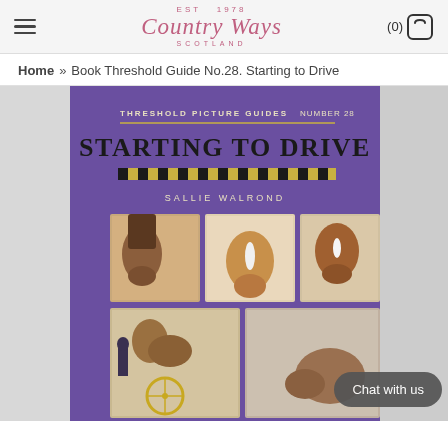Country Ways — EST 1978 — SCOTLAND | (0) [cart]
Home » Book Threshold Guide No.28. Starting to Drive
[Figure (photo): Book cover of 'Starting to Drive' — Threshold Picture Guides Number 28, by Sallie Walrond. Purple cover with the title in large black text and a checkered yellow/black border strip. Features a collage of photographs showing horses being harnessed and driven in a carriage.]
Chat with us